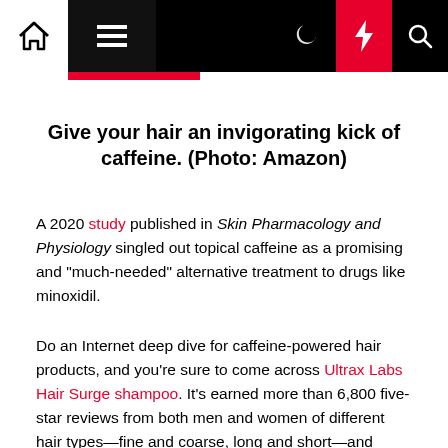Navigation bar with home, menu, dark mode, lightning, and search icons
Give your hair an invigorating kick of caffeine. (Photo: Amazon)
A 2020 study published in Skin Pharmacology and Physiology singled out topical caffeine as a promising and "much-needed" alternative treatment to drugs like minoxidil.
Do an Internet deep dive for caffeine-powered hair products, and you're sure to come across Ultrax Labs Hair Surge shampoo. It's earned more than 6,800 five-star reviews from both men and women of different hair types—fine and coarse, long and short—and ages, from high schoolers to middle-